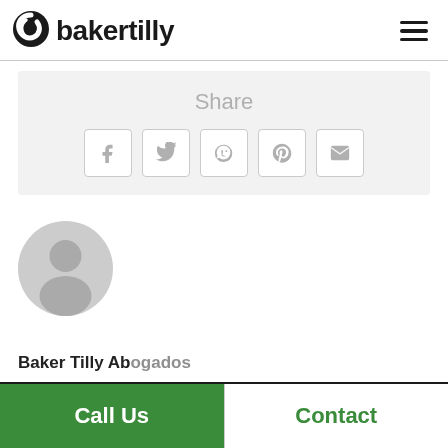[Figure (logo): Baker Tilly logo with spiral icon and bold wordmark 'bakertilly']
[Figure (infographic): Share section with Facebook, Twitter, WhatsApp, Pinterest, and Email icons inside bordered boxes on a light grey background]
[Figure (photo): Generic grey avatar/profile placeholder image]
Baker Tilly Abogados
Call Us
Contact